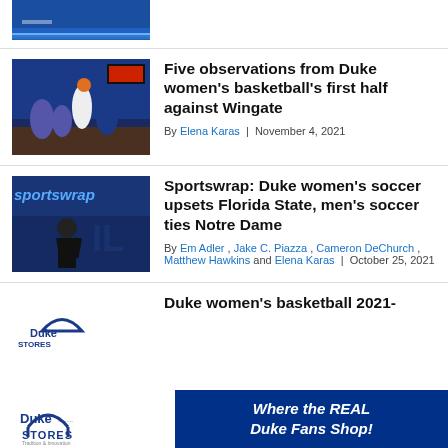[Figure (photo): Top partial article image - basketball court blue]
[Figure (photo): Duke women's basketball game photo - players on court]
Five observations from Duke women's basketball's first half against Wingate
By Elena Karas | November 4, 2021
[Figure (photo): Sportswrap image with soccer player]
Sportswrap: Duke women's soccer upsets Florida State, men's soccer ties Notre Dame
By Em Adler , Jake C. Piazza , Cameron DeChurch , Matthew Hawkins and Elena Karas | October 25, 2021
[Figure (logo): Duke Stores logo]
Duke women's basketball 2021-
[Figure (infographic): Duke Stores banner - Where the REAL Duke Fans Shop!]